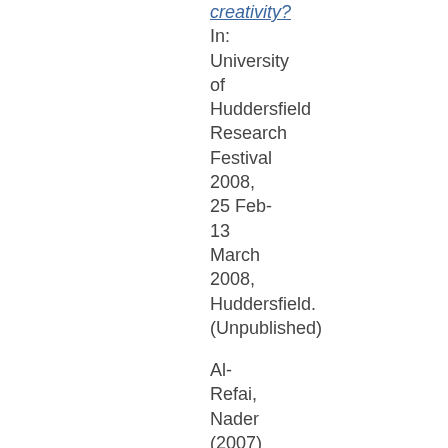creativity? In: University of Huddersfield Research Festival 2008, 25 Feb-13 March 2008, Huddersfield. (Unpublished)
Al-Refai, Nader (2007) Muslim schools and the